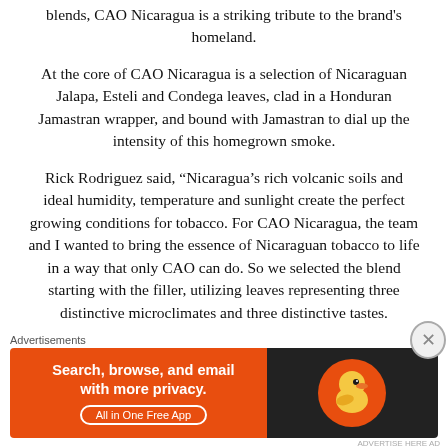blends, CAO Nicaragua is a striking tribute to the brand's homeland.
At the core of CAO Nicaragua is a selection of Nicaraguan Jalapa, Esteli and Condega leaves, clad in a Honduran Jamastran wrapper, and bound with Jamastran to dial up the intensity of this homegrown smoke.
Rick Rodriguez said, “Nicaragua’s rich volcanic soils and ideal humidity, temperature and sunlight create the perfect growing conditions for tobacco. For CAO Nicaragua, the team and I wanted to bring the essence of Nicaraguan tobacco to life in a way that only CAO can do. So we selected the blend starting with the filler, utilizing leaves representing three distinctive microclimates and three distinctive tastes.
Rick details the characteristics of the three Nicaraguan
[Figure (other): DuckDuckGo advertisement banner: orange background with text 'Search, browse, and email with more privacy. All in One Free App' on left, DuckDuckGo duck logo on dark right panel]